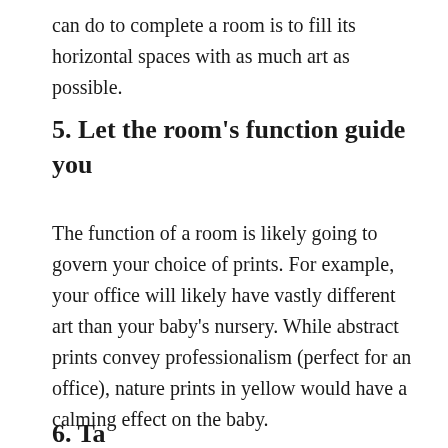can do to complete a room is to fill its horizontal spaces with as much art as possible.
5. Let the room's function guide you
The function of a room is likely going to govern your choice of prints. For example, your office will likely have vastly different art than your baby's nursery. While abstract prints convey professionalism (perfect for an office), nature prints in yellow would have a calming effect on the baby.
6. Take it from a tric...